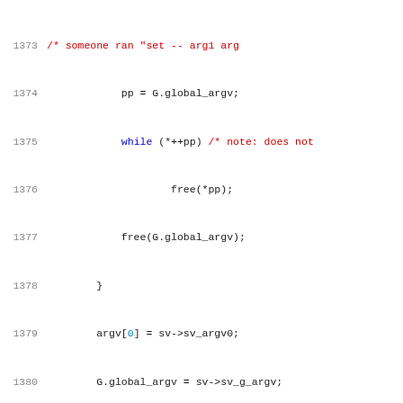Source code lines 1373-1394, C source file with syntax highlighting showing signal handling code in a shell implementation.